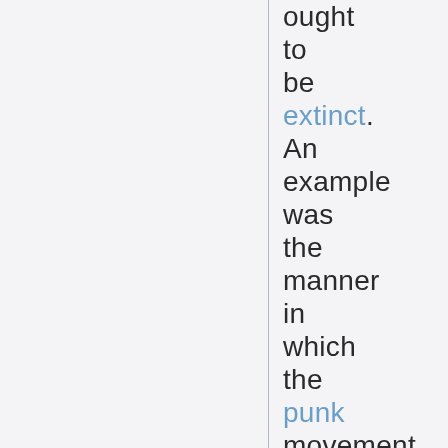ought to be extinct. An example was the manner in which the punk movement described the